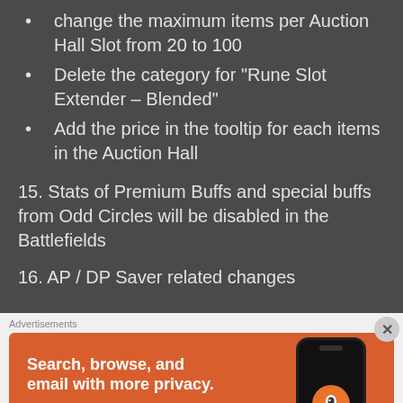change the maximum items per Auction Hall Slot from 20 to 100
Delete the category for “Rune Slot Extender – Blended”
Add the price in the tooltip for each items in the Auction Hall
15. Stats of Premium Buffs and special buffs from Odd Circles will be disabled in the Battlefields
16. AP / DP Saver related changes
[Figure (infographic): DuckDuckGo advertisement banner with orange background, text 'Search, browse, and email with more privacy. All in One Free App' with a phone showing the DuckDuckGo logo.]